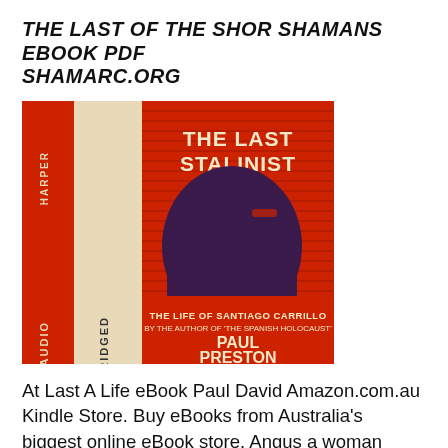THE LAST OF THE SHOR SHAMANS EBOOK PDF SHAMARC.ORG
[Figure (illustration): Book cover of 'The Last Stalinist: The Life of Santiago Carrillo' by Paul Preston, published by Harper Audio (Unabridged). Red, cream/beige, and dark purple color scheme with a stylized profile silhouette of a man's face on the cover.]
At Last A Life eBook Paul David Amazon.com.au Kindle Store. Buy eBooks from Australia's biggest online eBook store. Angus a woman must